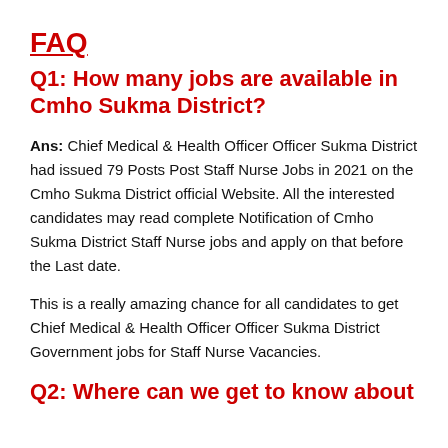FAQ
Q1: How many jobs are available in Cmho Sukma District?
Ans: Chief Medical & Health Officer Officer Sukma District had issued 79 Posts Post Staff Nurse Jobs in 2021 on the Cmho Sukma District official Website. All the interested candidates may read complete Notification of Cmho Sukma District Staff Nurse jobs and apply on that before the Last date.
This is a really amazing chance for all candidates to get Chief Medical & Health Officer Officer Sukma District Government jobs for Staff Nurse Vacancies.
Q2: Where can we get to know about